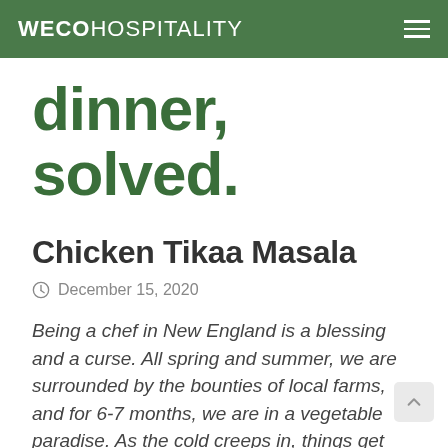WECO HOSPITALITY
dinner, solved.
Chicken Tikaa Masala
December 15, 2020
Being a chef in New England is a blessing and a curse. All spring and summer, we are surrounded by the bounties of local farms, and for 6-7 months, we are in a vegetable paradise. As the cold creeps in, things get more and more sparse, until you find yourself